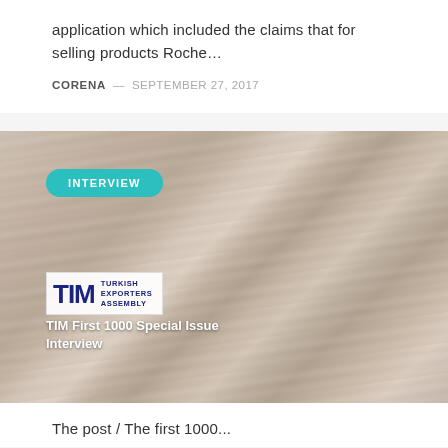application which included the claims that for selling products Roche…
CORENA — SEPTEMBER 27, 2017
[Figure (photo): Stack of open magazines fanned out, showing colorful spines and pages, with an INTERVIEW badge overlay and TIM Turkish Exporters Assembly logo and caption 'TIM First 1000 Special Issue Interview']
The post / The first 1000...